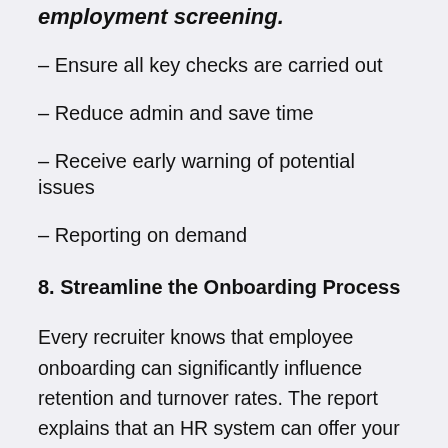employment screening.
– Ensure all key checks are carried out
– Reduce admin and save time
– Receive early warning of potential issues
– Reporting on demand
8. Streamline the Onboarding Process
Every recruiter knows that employee onboarding can significantly influence retention and turnover rates. The report explains that an HR system can offer your business an efficient and streamline onboarding experience.